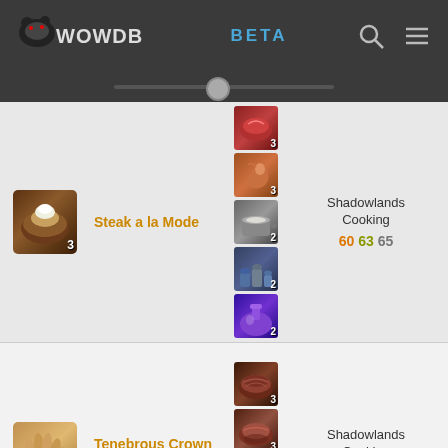WOWDB BETA
| Item | Name | Reagents |  | Skill | Count |
| --- | --- | --- | --- | --- | --- |
| [icon] | Steak a la Mode | [reagents: 3,3,2,2,2] |  | Shadowlands Cooking 60 63 65 | 1 |
| [icon] | Tenebrous Crown Roast Aspic | [reagents: 3,3,4,2] |  | Shadowlands Cooking 60 63 65 | 1 |
| [icon] | ... |  |  |  |  |